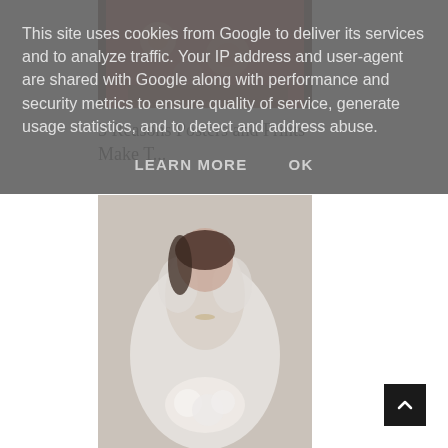This site uses cookies from Google to deliver its services and to analyze traffic. Your IP address and user-agent are shared with Google along with performance and security metrics to ensure quality of service, generate usage statistics, and to detect and address abuse.
LEARN MORE   OK
[Figure (photo): Partial view of a colorful poster/print artwork with red floral patterns]
3 Reasons Posters and Prints Make T...
[Figure (photo): A bride in a white lace dress holding white flowers, close-up portrait]